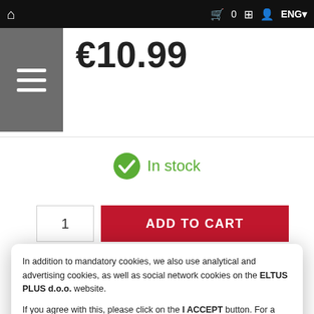🏠   🛒 0  ⊞  👤  ENG▾
[Figure (screenshot): Hamburger menu icon (three white horizontal lines on grey background)]
€10.99
[Figure (infographic): Green checkmark circle icon with 'In stock' text in green]
1
ADD TO CART
In addition to mandatory cookies, we also use analytical and advertising cookies, as well as social network cookies on the ELTUS PLUS d.o.o. website.

If you agree with this, please click on the I ACCEPT button. For a detailed description and in order to set the use of individual cookies, click on the COOKIE SETTINGS link.
I ACCEPT
Cookie